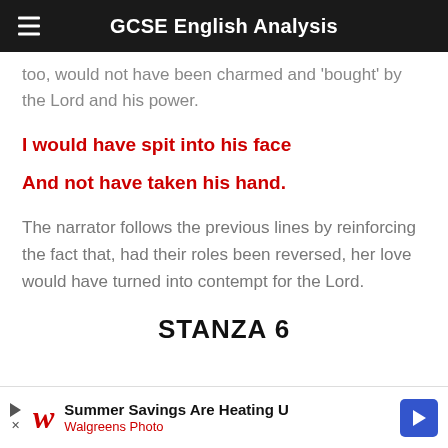GCSE English Analysis
too, would not have been charmed and 'bought' by the Lord and his power.
I would have spit into his face
And not have taken his hand.
The narrator follows the previous lines by reinforcing the fact that, had their roles been reversed, her love would have turned into contempt for the Lord.
STANZA 6
Summer Savings Are Heating U — Walgreens Photo